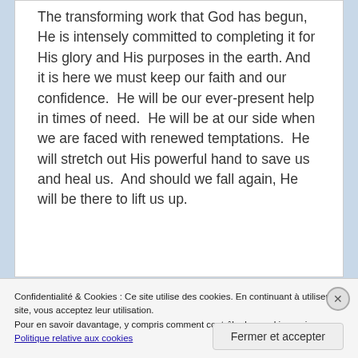The transforming work that God has begun, He is intensely committed to completing it for His glory and His purposes in the earth. And it is here we must keep our faith and our confidence.  He will be our ever-present help in times of need.  He will be at our side when we are faced with renewed temptations.  He will stretch out His powerful hand to save us and heal us.  And should we fall again, He will be there to lift us up.
Confidentialité & Cookies : Ce site utilise des cookies. En continuant à utiliser ce site, vous acceptez leur utilisation.
Pour en savoir davantage, y compris comment contrôler les cookies, voir : Politique relative aux cookies
Fermer et accepter